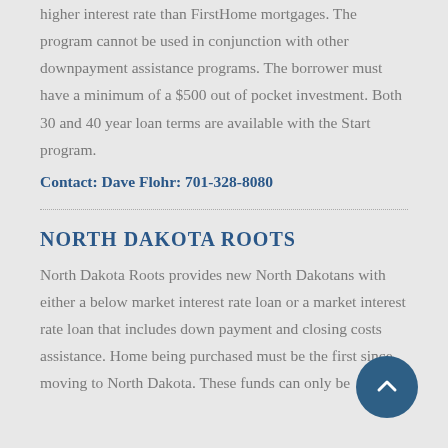higher interest rate than FirstHome mortgages.  The program cannot be used in conjunction with other downpayment assistance programs.  The borrower must have a minimum of a $500 out of pocket investment.  Both 30 and 40 year loan terms are available with the Start program.
Contact: Dave Flohr: 701-328-8080
NORTH DAKOTA ROOTS
North Dakota Roots provides new North Dakotans with either a below market interest rate loan or a market interest rate loan that includes down payment and closing costs assistance.  Home being purchased must be the first since moving to North Dakota.  These funds can only be